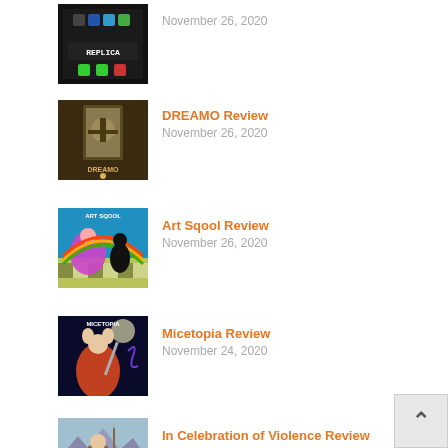[Figure (screenshot): Thumbnail for Replica game review - dark phone/app interface with REPLICA text]
November 26, 2020
[Figure (screenshot): Thumbnail for DREAMO game review - dark fantasy door scene with DREAMO text]
DREAMO Review
November 26, 2020
[Figure (screenshot): Thumbnail for Art Sqool game review - colorful art scene with ART SQOOL text]
Art Sqool Review
November 26, 2020
[Figure (screenshot): Thumbnail for Micetopia game review - fantasy mouse character with MICETOPIA text]
Micetopia Review
November 24, 2020
[Figure (screenshot): Thumbnail for In Celebration of Violence game review - fantasy warrior with text]
In Celebration of Violence Review
November 24, 2020